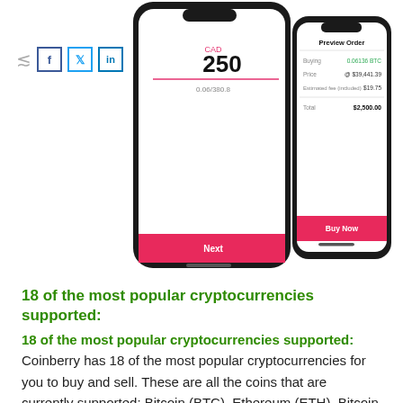[Figure (screenshot): Two smartphone screens showing a cryptocurrency buying interface. Left phone shows a buy order screen with amount '250' and label 'CAD', with text '0.06/380.8'. Right phone shows 'Preview Order' screen with fields: Buying 0.06136 BTC, Price @ $39,441.39, Estimated fee (included) $19.75, Total $2,500.00, and a pink 'Buy Now' button. Social share icons (Facebook, Twitter, LinkedIn) visible at top left, along with a share arrow icon.]
18 of the most popular cryptocurrencies supported:
Coinberry has 18 of the most popular cryptocurrencies for you to buy and sell. These are all the coins that are currently supported: Bitcoin (BTC), Ethereum (ETH), Bitcoin cash (BCH), Litecoin (LTC), Stellar (XLM),